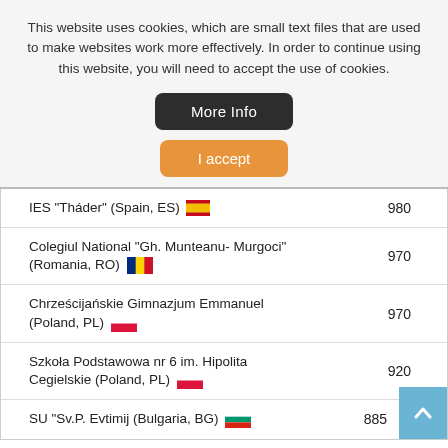This website uses cookies, which are small text files that are used to make websites work more effectively. In order to continue using this website, you will need to accept the use of cookies.
More Info
I accept
| School | Score |
| --- | --- |
| IES "Tháder" (Spain, ES) 🇪🇸 | 980 |
| Colegiul National "Gh. Munteanu- Murgoci" (Romania, RO) 🇷🇴 | 970 |
| Chrześcijańskie Gimnazjum Emmanuel (Poland, PL) 🇵🇱 | 970 |
| Szkoła Podstawowa nr 6 im. Hipolita Cegielskie (Poland, PL) 🇵🇱 | 920 |
| SU "Sv.P. Evtimij (Bulgaria, BG) 🇧🇬 | 885 |